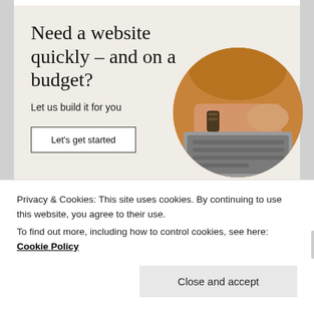[Figure (infographic): WordPress advertisement banner with beige background. Large serif text reads 'Need a website quickly – and on a budget?' with subtitle 'Let us build it for you', a white button 'Let's get started', WordPress logo (W in circle), and circular photo of person typing on laptop.]
Posted in Chevrolet Bolt, Chevy Bolt, Earth Day, Electric car charging, Electric car range, electric cars, EV battery
Privacy & Cookies: This site uses cookies. By continuing to use this website, you agree to their use.
To find out more, including how to control cookies, see here: Cookie Policy